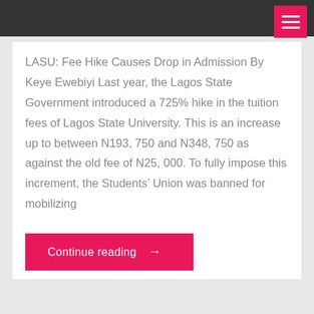LASU: Fee Hike Causes Drop in Admission By Keye Ewebiyi Last year, the Lagos State Government introduced a 725% hike in the tuition fees of Lagos State University. This is an increase up to between N193, 750 and N348, 750 as against the old fee of N25, 000. To fully impose this increment, the Students’ Union was banned for mobilizing
Continue reading →